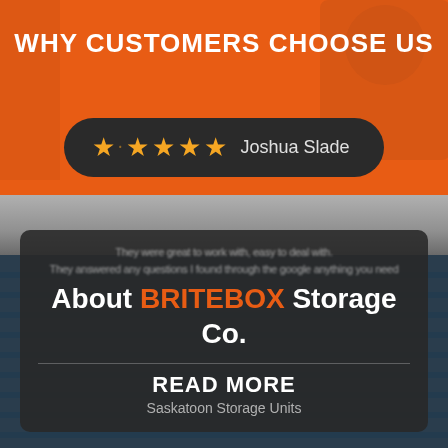WHY CUSTOMERS CHOOSE US
[Figure (infographic): Five-star rating pill with Joshua Slade reviewer name on dark rounded background]
They were great to work with, easy to deal with. They answered any questions I found through the google anything you need
About BRITEBOX Storage Co.
READ MORE
Saskatoon Storage Units